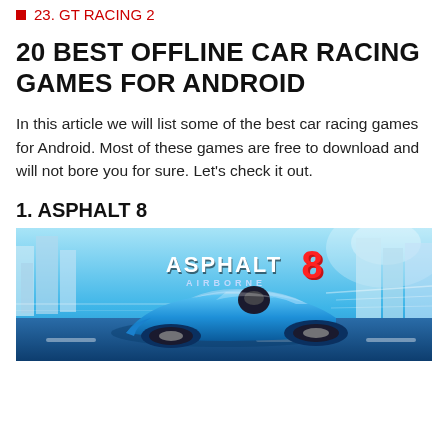23. GT RACING 2
20 BEST OFFLINE CAR RACING GAMES FOR ANDROID
In this article we will list some of the best car racing games for Android. Most of these games are free to download and will not bore you for sure. Let's check it out.
1. ASPHALT 8
[Figure (photo): Promotional banner for Asphalt 8: Airborne game showing a blue sports car racing through a futuristic city with the game logo 'ASPHALT 8 AIRBORNE' in the center.]